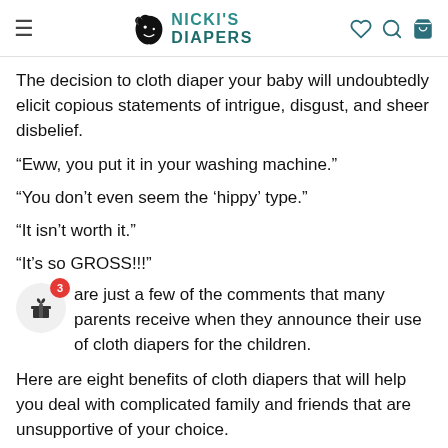Nicki's Diapers
The decision to cloth diaper your baby will undoubtedly elicit copious statements of intrigue, disgust, and sheer disbelief.
“Eww, you put it in your washing machine.”
“You don’t even seem the ‘hippy’ type.”
“It isn’t worth it.”
“It’s so GROSS!!!”
are just a few of the comments that many parents receive when they announce their use of cloth diapers for the children.
Here are eight benefits of cloth diapers that will help you deal with complicated family and friends that are unsupportive of your choice.